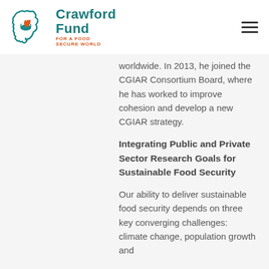Crawford Fund – For a Food Secure World
worldwide. In 2013, he joined the CGIAR Consortium Board, where he has worked to improve cohesion and develop a new CGIAR strategy.
Integrating Public and Private Sector Research Goals for Sustainable Food Security
Our ability to deliver sustainable food security depends on three key converging challenges: climate change, population growth and